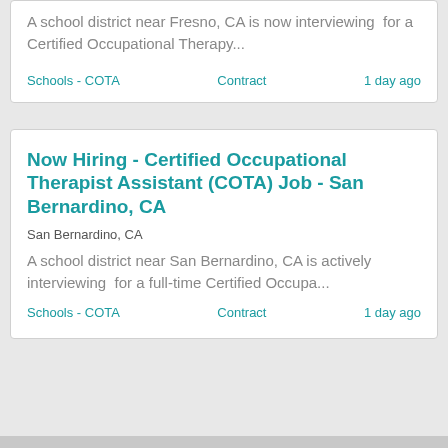A school district near Fresno, CA is now interviewing  for a Certified Occupational Therapy...
Schools - COTA    Contract    1 day ago
Now Hiring - Certified Occupational Therapist Assistant (COTA) Job - San Bernardino, CA
San Bernardino, CA
A school district near San Bernardino, CA is actively interviewing  for a full-time Certified Occupa...
Schools - COTA    Contract    1 day ago